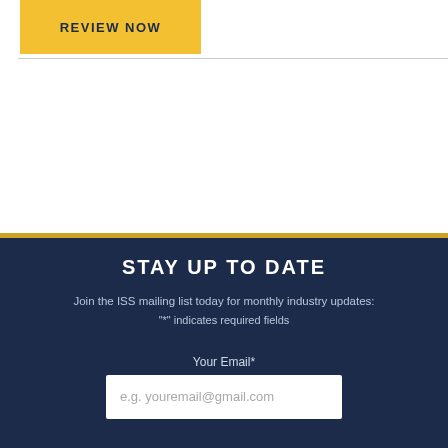REVIEW NOW
STAY UP TO DATE
Join the ISS mailing list today for monthly industry updates:
"*" indicates required fields
Your Email*
e.g. youremail@gmail.com